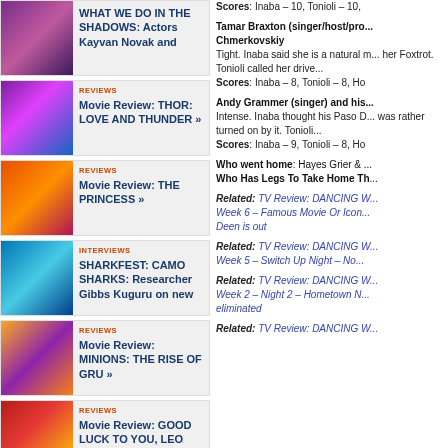WHAT WE DO IN THE SHADOWS: Actors Kayvan Novak and
REVIEWS — Movie Review: THOR: LOVE AND THUNDER »
REVIEWS — Movie Review: THE PRINCESS »
INTERVIEWS — SHARKFEST: CAMO SHARKS: Researcher Gibbs Kuguru on new
REVIEWS — Movie Review: MINIONS: THE RISE OF GRU »
REVIEWS — Movie Review: GOOD LUCK TO YOU, LEO GRANDE »
INTERVIEWS — LUCIFER: Co-executive producer and writer Mike Costa on the
Scores: Inaba – 10, Tonioli – 10,
Tamar Braxton (singer/host/pro... Chmerkovskiy
Tight. Inaba said she is a natural m... her Foxtrot. Tonioli called her drive...
Scores: Inaba – 8, Tonioli – 8, Ho
Andy Grammer (singer) and his...
Intense. Inaba thought his Paso D... was rather turned on by it. Tonioli...
Scores: Inaba – 9, Tonioli – 8, Ho
Who went home: Hayes Grier & ...
Who Has Legs To Take Home Th...
Related: TV Review: DANCING W... Week 6 – Famous Movie Or Icon... Deen is out
Related: TV Review: DANCING W... Week 5 – Switch Up Night – No...
Related: TV Review: DANCING W... Week 2 – Night 2 – Hometown N... eliminated
Related: TV Review: DANCING W... Week...